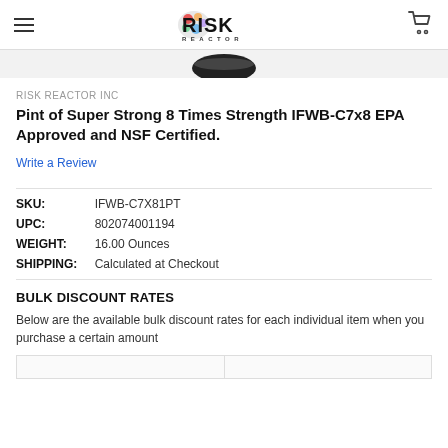RISK REACTOR (logo) | hamburger menu | cart icon
[Figure (photo): Partial product image visible at top of page, black round container lid visible]
RISK REACTOR INC
Pint of Super Strong 8 Times Strength IFWB-C7x8 EPA Approved and NSF Certified.
Write a Review
SKU:   IFWB-C7X81PT
UPC:   802074001194
WEIGHT:   16.00 Ounces
SHIPPING:   Calculated at Checkout
BULK DISCOUNT RATES
Below are the available bulk discount rates for each individual item when you purchase a certain amount